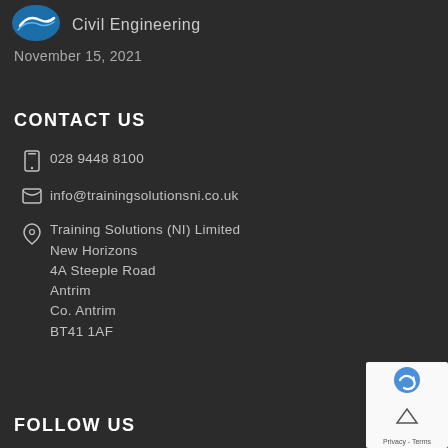[Figure (logo): Blue circular logo (Training Solutions NI) partial view, top-left]
Civil Engineering
November 15, 2021
CONTACT US
028 9448 8100
info@trainingsolutionsni.co.uk
Training Solutions (NI) Limited
New Horizons
4A Steeple Road
Antrim
Co. Antrim
BT41 1AF
FOLLOW US
[Figure (other): reCAPTCHA badge with blue/white logo and Privacy - Terms text, bottom right]